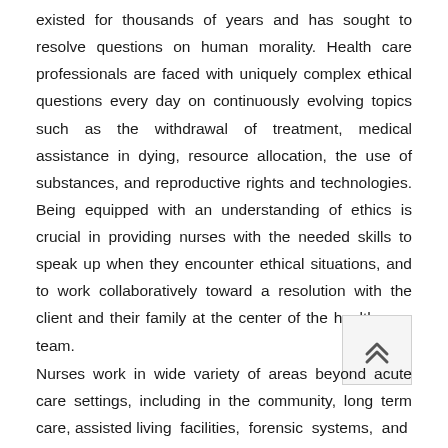existed for thousands of years and has sought to resolve questions on human morality. Health care professionals are faced with uniquely complex ethical questions every day on continuously evolving topics such as the withdrawal of treatment, medical assistance in dying, resource allocation, the use of substances, and reproductive rights and technologies. Being equipped with an understanding of ethics is crucial in providing nurses with the needed skills to speak up when they encounter ethical situations, and to work collaboratively toward a resolution with the client and their family at the center of the health care team.
Nurses work in wide variety of areas beyond acute care settings, including in the community, long term care, assisted living facilities, forensic systems, and postsecondary